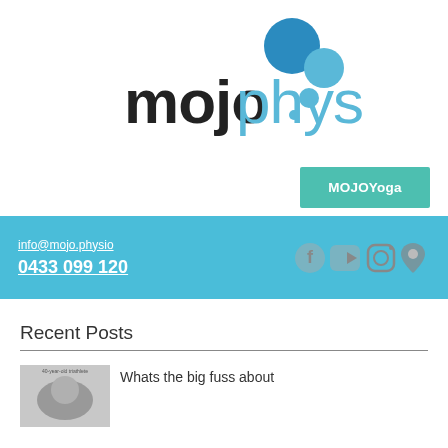[Figure (logo): mojophysio logo with blue circle bubbles above the text. 'mojo' in dark near-black bold, 'physio' in light blue, with decorative blue circles/bubbles to the upper right.]
MOJOYoga
info@mojo.physio
0433 099 120
[Figure (other): Social media icons: Facebook, YouTube, Instagram, and map pin/location icon, all in grey on a blue background.]
Recent Posts
[Figure (photo): Small thumbnail image showing a grayscale photo related to a blog post about fitness or health, with caption text '40-year-old triathlete' visible.]
Whats the big fuss about